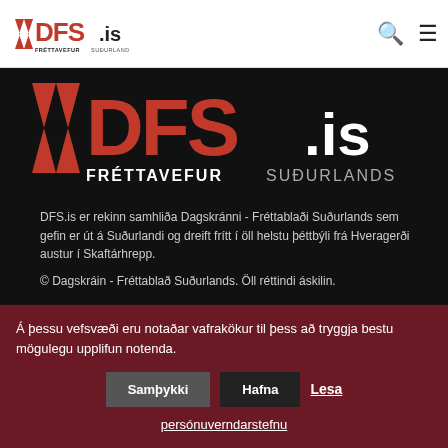[Figure (logo): DFS.is logo small - red and black text with FRÉTTAVEFUR SUÐURLANDS subtitle]
[Figure (logo): Large DFS.is logo on black background with FRÉTTAVEFUR SUÐURLANDS subtitle]
DFS.is er rekinn samhliða Dagskránni - Fréttablaði Suðurlands sem gefin er út á Suðurlandi og dreift frítt í öll helstu þéttbýli frá Hveragerði austur í Skaftárhrepp.
© Dagskráin - Fréttablað Suðurlands. Öll réttindi áskilin.
UM BLAÐIÐ
DREIFING
AUGLÝSINGAR
Á þessu vefsvæði eru notaðar vafrakökur til þess að tryggja bestu mögulegu upplifun notenda.
Samþykki  Hafna  Lesa persónuverndarstefnu